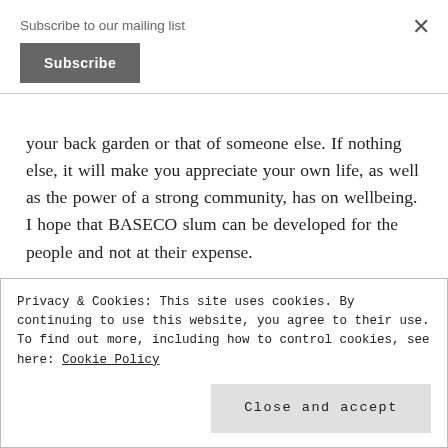Subscribe to our mailing list
Subscribe
your back garden or that of someone else. If nothing else, it will make you appreciate your own life, as well as the power of a strong community, has on wellbeing. I hope that BASECO slum can be developed for the people and not at their expense.
Privacy & Cookies: This site uses cookies. By continuing to use this website, you agree to their use.
To find out more, including how to control cookies, see here: Cookie Policy
Close and accept